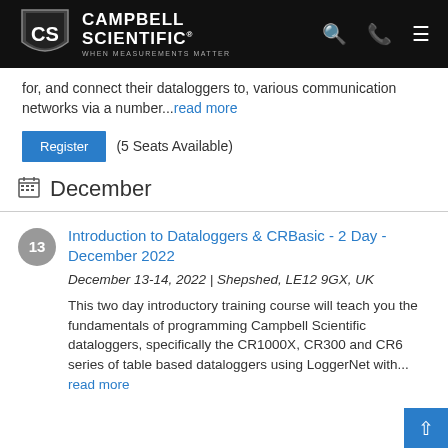[Figure (logo): Campbell Scientific logo — shield icon with 'CS' initials and text 'CAMPBELL SCIENTIFIC / WHEN MEASUREMENTS MATTER' on black header bar]
for, and connect their dataloggers to, various communication networks via a number...read more
Register (5 Seats Available)
December
Introduction to Dataloggers & CRBasic - 2 Day - December 2022
December 13-14, 2022 | Shepshed, LE12 9GX, UK
This two day introductory training course will teach you the fundamentals of programming Campbell Scientific dataloggers, specifically the CR1000X, CR300 and CR6 series of table based dataloggers using LoggerNet with... read more